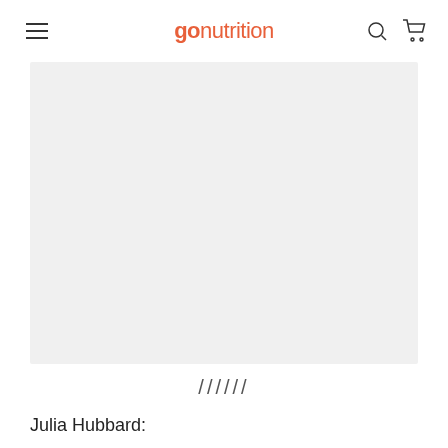go nutrition
[Figure (photo): Large light grey placeholder image area]
//////
Julia Hubbard: